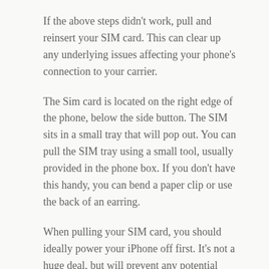If the above steps didn't work, pull and reinsert your SIM card. This can clear up any underlying issues affecting your phone's connection to your carrier.
The Sim card is located on the right edge of the phone, below the side button. The SIM sits in a small tray that will pop out. You can pull the SIM tray using a small tool, usually provided in the phone box. If you don't have this handy, you can bend a paper clip or use the back of an earring.
When pulling your SIM card, you should ideally power your iPhone off first. It's not a huge deal, but will prevent any potential damage. Also, make sure you pull your SIM while sitting at a table or flat surface, since it's tiny and easy to lose.